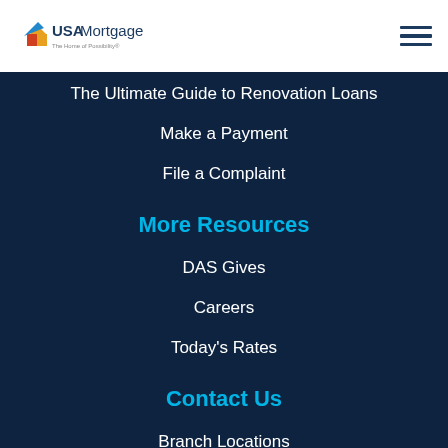[Figure (logo): USA Mortgage logo with house icon and tagline]
The Ultimate Guide to Renovation Loans
Make a Payment
File a Complaint
More Resources
DAS Gives
Careers
Today's Rates
Contact Us
Branch Locations
Find a Mortgage Loan Originator